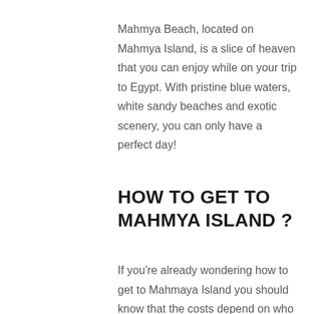Mahmya Beach, located on Mahmya Island, is a slice of heaven that you can enjoy while on your trip to Egypt. With pristine blue waters, white sandy beaches and exotic scenery, you can only have a perfect day!
HOW TO GET TO MAHMYA ISLAND ?
If you're already wondering how to get to Mahmaya Island you should know that the costs depend on who you book with.